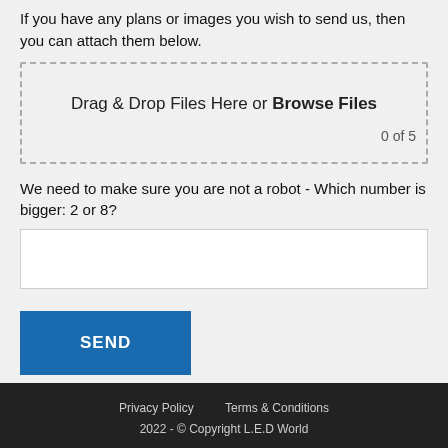If you have any plans or images you wish to send us, then you can attach them below.
[Figure (other): Drag and drop file upload zone with dashed border. Contains text 'Drag & Drop Files Here or Browse Files' and a file count indicator '0 of 5'.]
We need to make sure you are not a robot - Which number is bigger: 2 or 8?
[Figure (other): Empty text input box for robot verification answer.]
[Figure (other): Blue SEND button.]
Privacy Policy   Terms & Conditions
2022 - © Copyright L.E.D World